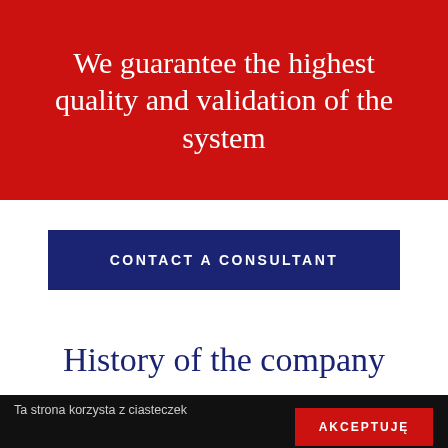We guarantee the highest quality and validation of the system
CONTACT A CONSULTANT
History of the company
Ta strona korzysta z ciasteczek aby świadczyć usługi na najwyższym poziomie. Dalsze korzystanie ze strony oznacza, że zgadzasz się na ich użycie.
AKCEPTUJĘ